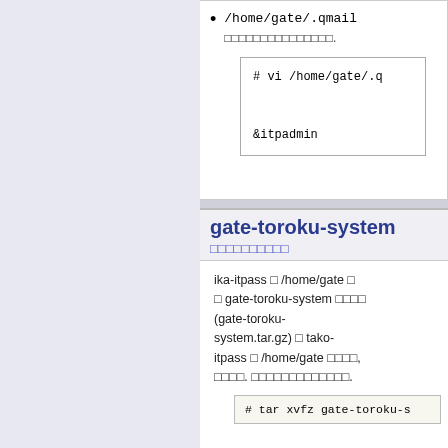/home/gate/.qmail — [Japanese text]
# vi /home/gate/.q

&itpadmin
gate-toroku-system
[Japanese subtitle]
ika-itpass → /home/gate に → gate-toroku-system [Japanese] (gate-toroku-system.tar.gz) → tako-itpass → /home/gate [Japanese], [Japanese]. [Japanese].
# tar xvfz gate-toroku-s